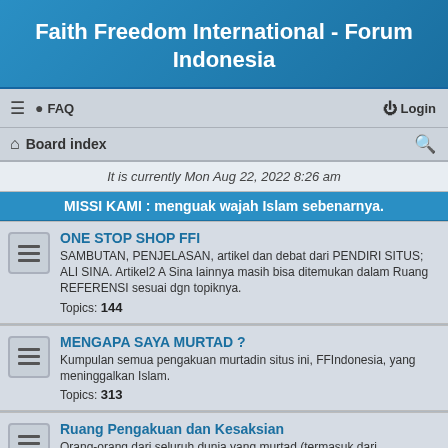Faith Freedom International - Forum Indonesia
FAQ | Login | Board index
It is currently Mon Aug 22, 2022 8:26 am
MISSI KAMI : menguak wajah Islam sebenarnya.
ONE STOP SHOP FFI
SAMBUTAN, PENJELASAN, artikel dan debat dari PENDIRI SITUS; ALI SINA. Artikel2 A Sina lainnya masih bisa ditemukan dalam Ruang REFERENSI sesuai dgn topiknya. Topics: 144
MENGAPA SAYA MURTAD ?
Kumpulan semua pengakuan murtadin situs ini, FFIndonesia, yang meninggalkan Islam. Topics: 313
Ruang Pengakuan dan Kesaksian
Orang-orang dari seluruh dunia yang murtad (termasuk dari FFInternasional). Siapa mereka dan mengapa mereka meninggalkan Islam ? Murtadin2 dari FFIndonesia silahkan masukkan pengakuan ke 'Mengapa Saya Murtad ?' Topics: 731
PENGUMUMAN bagi Pendatang BARU & MANFAAT FFI
Selamat datang pendatang baru, baik Muslim maupun non-Muslim. Anda diminta utk BACA DULU ruang ini sebelum menuliskan komentar.